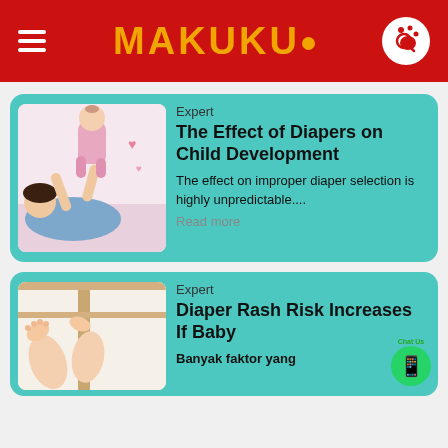MAKUKU.
Expert
The Effect of Diapers on Child Development
The effect on improper diaper selection is highly unpredictable....
Read more
Expert
Diaper Rash Risk Increases If Baby
Banyak faktor yang